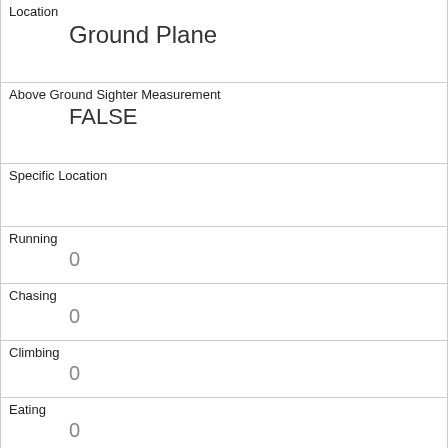| Location | Ground Plane |
| Above Ground Sighter Measurement | FALSE |
| Specific Location |  |
| Running | 0 |
| Chasing | 0 |
| Climbing | 0 |
| Eating | 0 |
| Foraging | 1 |
| Other Activities | walking |
| Kuks | 0 |
| Quaas |  |